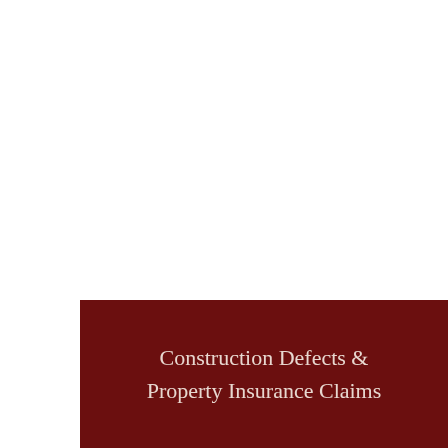Construction Defects & Property Insurance Claims